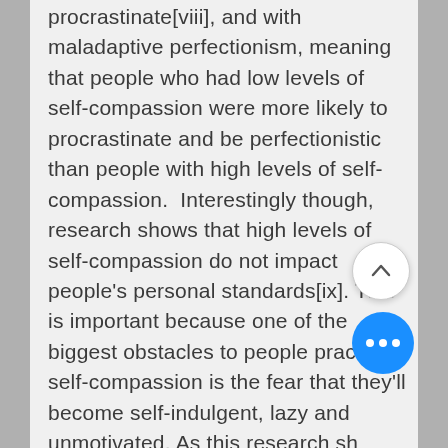procrastinate[viii], and with maladaptive perfectionism, meaning that people who had low levels of self-compassion were more likely to procrastinate and be perfectionistic than people with high levels of self-compassion.  Interestingly though, research shows that high levels of self-compassion do not impact people's personal standards[ix]. This is important because one of the biggest obstacles to people practicing self-compassion is the fear that they'll become self-indulgent, lazy and unmotivated. As this research sh however, people with high levels of self-compassion do NOT relax their personal standards, and are even likely to procrastinate, suggesting that